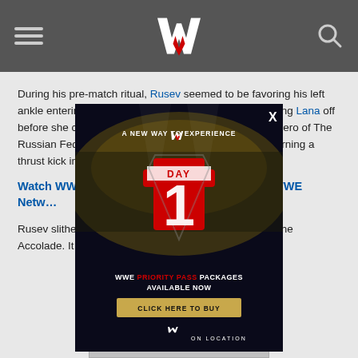WWE
During his pre-match ritual, Rusev seemed to be favoring his left ankle entering Swagger's Patriot Lock submission, cutting Lana off before she could renew her anti-American tirade. The Hero of The Russian Federation dominated the match, eventually turning a thrust kick into another Patriot Lock.
[Figure (screenshot): WWE Day 1 Priority Pass promotional ad overlay with 'A New Way To Experience' tagline, 'WWE PRIORITY PASS PACKAGES AVAILABLE NOW' text, and 'CLICK HERE TO BUY' button]
Watch WWE TLC: Tables, Ladders & Stairs on WWE Network
Rusev slithered out of Swagger's grasp and locked on the Accolade. It looked as though The Real American had
[Figure (screenshot): Partially visible image at the bottom of the page]